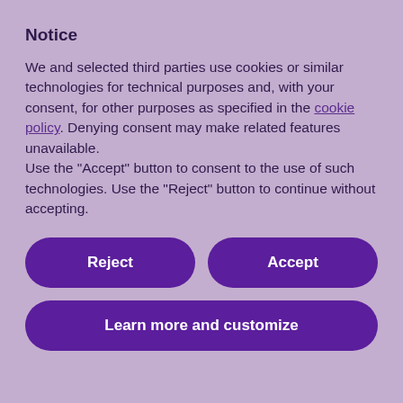Notice
We and selected third parties use cookies or similar technologies for technical purposes and, with your consent, for other purposes as specified in the cookie policy. Denying consent may make related features unavailable.
Use the “Accept” button to consent to the use of such technologies. Use the “Reject” button to continue without accepting.
Reject
Accept
Learn more and customize
The crawling software used to conduct the study is available on GitHub, so that other researchers can do further research. It simulates the behaviour of a normal user, choosing products on e-commerce sites, placing